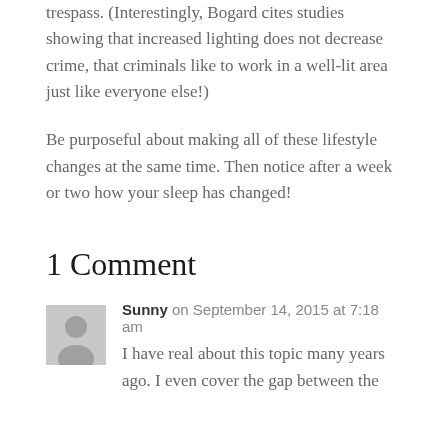trespass. (Interestingly, Bogard cites studies showing that increased lighting does not decrease crime, that criminals like to work in a well-lit area just like everyone else!)
Be purposeful about making all of these lifestyle changes at the same time. Then notice after a week or two how your sleep has changed!
1 Comment
Sunny on September 14, 2015 at 7:18 am
I have real about this topic many years ago. I even cover the gap between the